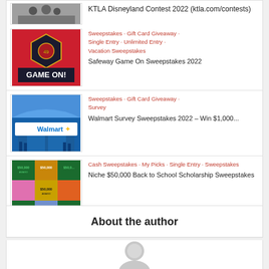[Figure (screenshot): Partial card at top showing image cropped and text: KTLA Disneyland Contest 2022 (ktla.com/contests)]
Sweepstakes · Gift Card Giveaway · Single Entry · Unlimited Entry · Vacation Sweepstakes
Safeway Game On Sweepstakes 2022
Sweepstakes · Gift Card Giveaway · Survey
Walmart Survey Sweepstakes 2022 – Win $1,000...
Cash Sweepstakes · My Picks · Single Entry · Sweepstakes
Niche $50,000 Back to School Scholarship Sweepstakes
About the author
[Figure (illustration): Generic author avatar silhouette in grey]